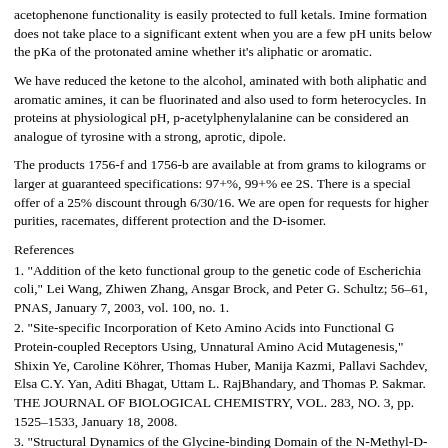acetophenone functionality is easily protected to full ketals. Imine formation does not take place to a significant extent when you are a few pH units below the pKa of the protonated amine whether it's aliphatic or aromatic.
We have reduced the ketone to the alcohol, aminated with both aliphatic and aromatic amines, it can be fluorinated and also used to form heterocycles. In proteins at physiological pH, p-acetylphenylalanine can be considered an analogue of tyrosine with a strong, aprotic, dipole.
The products 1756-f and 1756-b are available at from grams to kilograms or larger at guaranteed specifications: 97+%, 99+% ee 2S. There is a special offer of a 25% discount through 6/30/16. We are open for requests for higher purities, racemates, different protection and the D-isomer.
References
1. "Addition of the keto functional group to the genetic code of Escherichia coli," Lei Wang, Zhiwen Zhang, Ansgar Brock, and Peter G. Schultz; 56–61, PNAS, January 7, 2003, vol. 100, no. 1.
2. "Site-specific Incorporation of Keto Amino Acids into Functional G Protein-coupled Receptors Using, Unnatural Amino Acid Mutagenesis," Shixin Ye, Caroline Ko¨hrer, Thomas Huber, Manija Kazmi, Pallavi Sachdev, Elsa C.Y. Yan, Aditi Bhagat, Uttam L. RajBhandary, and Thomas P. Sakmar. THE JOURNAL OF BIOLOGICAL CHEMISTRY, VOL. 283, NO. 3, pp. 1525–1533, January 18, 2008.
3. "Structural Dynamics of the Glycine-binding Domain of the N-Methyl-D-Aspartate Receptor" Drew M. Dolino, David Cooper, Swarna Ramaswamy, Henriette Jaurich, Christy F. Landes, and Vasanthi Jayaraman. THE JOURNAL OF BIOLOGICAL CHEMISTRY VOL. 290, NO. 2, pp. 797–804, January 9,